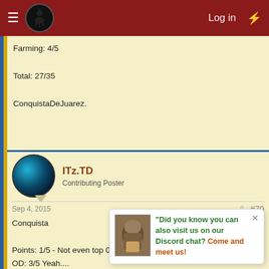Log in
Farming: 4/5

Total: 27/35

ConquistaDeJuarez.
ITz.TD
Contributing Poster
Sep 4, 2015  #70
Conquista

Points: 1/5 - Not even top 0?
OD: 3/5 Yeah....
Position(Area): 5/5  Nice spread
Profile: 3/5 - Spa...
Reputation: 2/5 - N...
Tribe: 4/5 - NOOBSI
Farming: 6/5
Did you know you can also visit us on our Discord chat? Come and meet us!